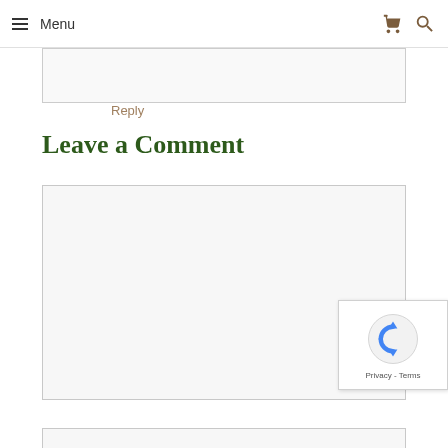Menu
Reply
Leave a Comment
[Figure (other): Empty comment text area input box with light gray background and border]
[Figure (other): reCAPTCHA badge with spinning arrow logo and Privacy - Terms text]
[Figure (other): Partially visible input box at bottom of page]